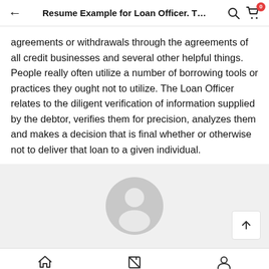Resume Example for Loan Officer. T…
agreements or withdrawals through the agreements of all credit businesses and several other helpful things. People really often utilize a number of borrowing tools or practices they ought not to utilize. The Loan Officer relates to the diligent verification of information supplied by the debtor, verifies them for precision, analyzes them and makes a decision that is final whether or otherwise not to deliver that loan to a given individual.
[Figure (illustration): Gray avatar/user profile placeholder icon centered in a light gray background section]
Home   Order   Account